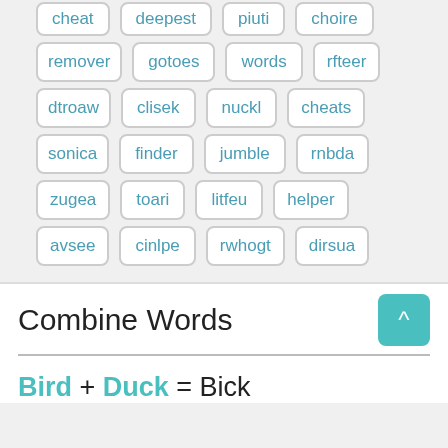cheat
deepest
piuti
choire
remover
gotoes
words
rfteer
dtroaw
clisek
nuckl
cheats
sonica
finder
jumble
rnbda
zugea
toari
litfeu
helper
avsee
cinlpe
rwhogt
dirsua
Combine Words
Bird + Duck = Bick